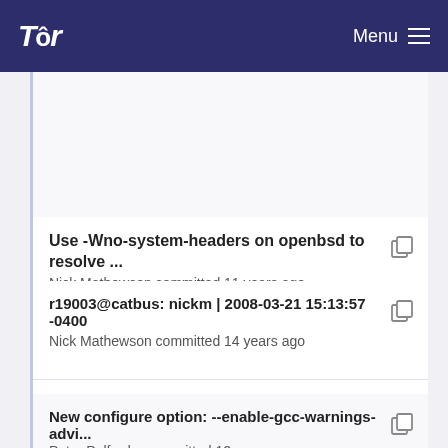Tor  Menu
Use -Wno-system-headers on openbsd to resolve ...
Nick Mathewson committed 11 years ago
New configure option: --enable-gcc-warnings-advi...
Peter Palfrader committed 12 years ago
r19003@catbus: nickm | 2008-03-21 15:13:57 -0400
Nick Mathewson committed 14 years ago